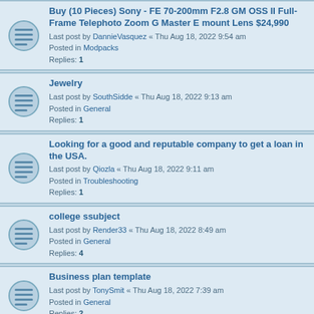Buy (10 Pieces) Sony - FE 70-200mm F2.8 GM OSS II Full-Frame Telephoto Zoom G Master E mount Lens $24,990
Last post by DannieVasquez « Thu Aug 18, 2022 9:54 am
Posted in Modpacks
Replies: 1
Jewelry
Last post by SouthSidde « Thu Aug 18, 2022 9:13 am
Posted in General
Replies: 1
Looking for a good and reputable company to get a loan in the USA.
Last post by Qiozla « Thu Aug 18, 2022 9:11 am
Posted in Troubleshooting
Replies: 1
college ssubject
Last post by Render33 « Thu Aug 18, 2022 8:49 am
Posted in General
Replies: 4
Business plan template
Last post by TonySmit « Thu Aug 18, 2022 7:39 am
Posted in General
Replies: 2
Will a fabric version of vivecraft ever exist? (2021)
Last post by PikaVR « Thu Aug 18, 2022 2:38 am
Posted in General
Replies: 2
Cannabidiol (CBD) ist eines von mindestens 113 Cannabinoiden
Last post by Hederem « Wed Aug 17, 2022 11:35 pm
Posted in General
Replies: ?